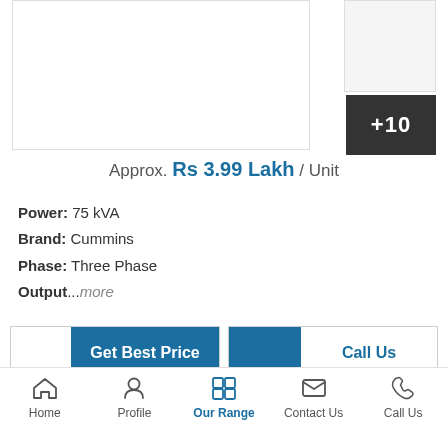[Figure (photo): Product image area with main image placeholder and thumbnail with +10 overlay indicating more photos]
Approx. Rs 3.99 Lakh / Unit
Power: 75 kVA
Brand: Cummins
Phase: Three Phase
Output...more
Get Best Price
Call Us
30 KVA Tata Cummins Generator Set
Home  Profile  Our Range  Contact Us  Call Us